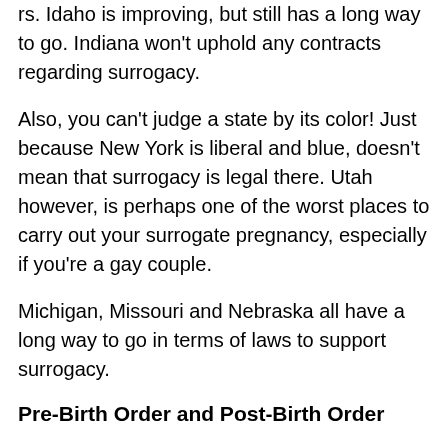rs. Idaho is improving, but still has a long way to go. Indiana won't uphold any contracts regarding surrogacy.
Also, you can't judge a state by its color! Just because New York is liberal and blue, doesn't mean that surrogacy is legal there. Utah however, is perhaps one of the worst places to carry out your surrogate pregnancy, especially if you're a gay couple.
Michigan, Missouri and Nebraska all have a long way to go in terms of laws to support surrogacy.
Pre-Birth Order and Post-Birth Order
So, what's the difference? A Declaration of Parentage is a court order that can be applied for in the third trimester. This will inform how the hospital should put t